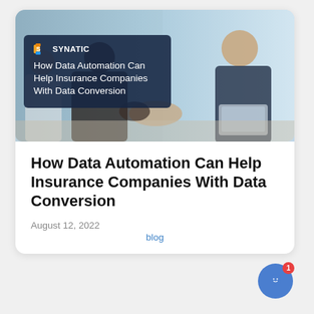[Figure (photo): Hero image showing two people in business attire shaking hands across a table, with a dark overlay box on the left containing the Synatic logo and article title text on a blue-toned background.]
How Data Automation Can Help Insurance Companies With Data Conversion
August 12, 2022
blog